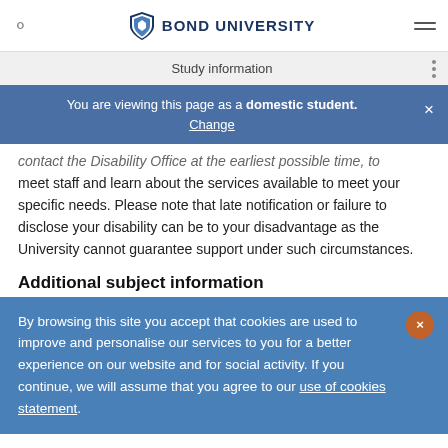BOND UNIVERSITY
Study information
You are viewing this page as a domestic student. Change
contact the Disability Office at the earliest possible time, to meet staff and learn about the services available to meet your specific needs. Please note that late notification or failure to disclose your disability can be to your disadvantage as the University cannot guarantee support under such circumstances.
Additional subject information
By browsing this site you accept that cookies are used to improve and personalise our services to you for a better experience on our website and for social activity. If you continue, we will assume that you agree to our use of cookies statement.